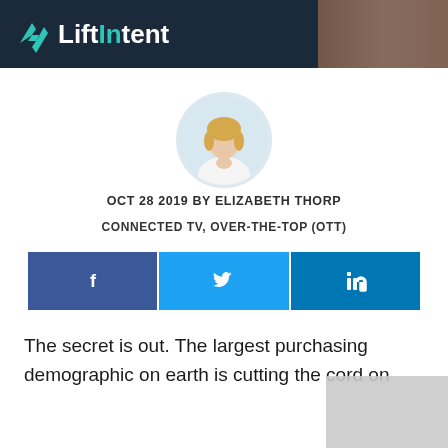LiftIntent
[Figure (photo): Circular author photo of Elizabeth Thorp, a blonde woman in a white top, against a light blue background]
OCT 28 2019 BY ELIZABETH THORP
CONNECTED TV, OVER-THE-TOP (OTT)
[Figure (infographic): Social media share buttons: Facebook (dark blue with f icon), Twitter (light blue with bird icon), LinkedIn (medium blue with in icon)]
The secret is out. The largest purchasing demographic on earth is cutting the cord on